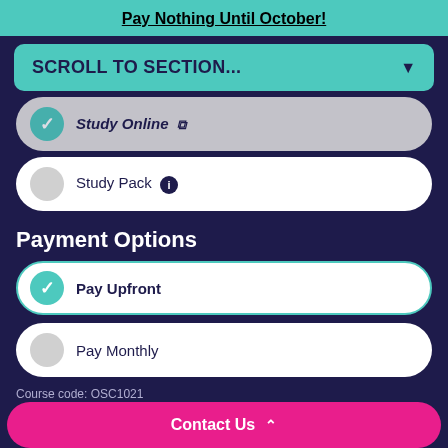Pay Nothing Until October!
SCROLL TO SECTION...
Study Online
Study Pack
Payment Options
Pay Upfront
Pay Monthly
Course code: OSC1021
£399
Contact Us